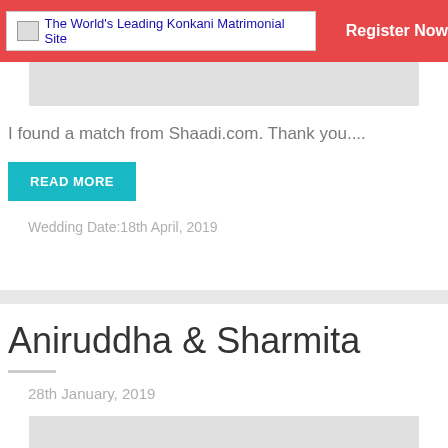The World's Leading Konkani Matrimonial Site | Register Now
[Figure (screenshot): Gray placeholder image bar at top of card]
I found a match from Shaadi.com. Thank you....
READ MORE
Wedding Date:18th April, 2019
Aniruddha & Sharmita
28th January, 2019
[Figure (screenshot): Gray placeholder image bar at bottom of card]